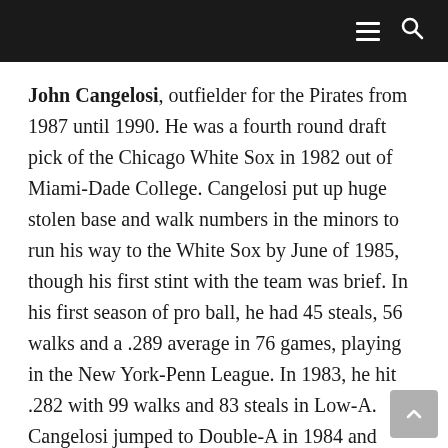☰ 🔍
John Cangelosi, outfielder for the Pirates from 1987 until 1990. He was a fourth round draft pick of the Chicago White Sox in 1982 out of Miami-Dade College. Cangelosi put up huge stolen base and walk numbers in the minors to run his way to the White Sox by June of 1985, though his first stint with the team was brief. In his first season of pro ball, he had 45 steals, 56 walks and a .289 average in 76 games, playing in the New York-Penn League. In 1983, he hit .282 with 99 walks and 83 steals in Low-A. Cangelosi jumped to Double-A in 1984 and batted .282 with 65 steals and 101 walks in 138 games. He had trouble with the jump to Triple-A, and his first big league cup of coffee lasted just five games. Cangelosi played his first full